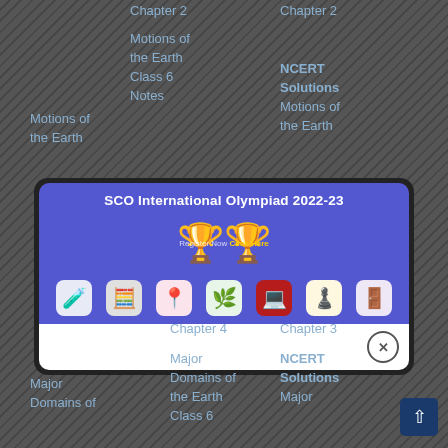Chapter 2
Motions of the Earth
Chapter 2
Motions of the Earth
Class 6 Notes
Chapter 2
NCERT Solutions
Motions of the Earth
[Figure (screenshot): SCO International Olympiad 2022-23 promotional popup banner with trophy icons, Register Now Click Here text, subject app icons (science, calculator, geography, nature, coding, chess, door), and a close button. Blue and white background.]
Chapter 4
Major Domains of the Earth
Chapter 4
Major Domains of the Earth
Class 6
Chapter 3
NCERT Solutions
Major